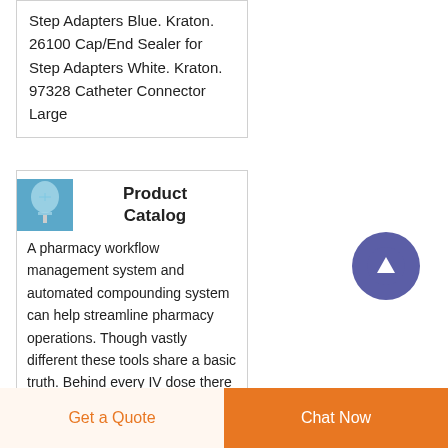Step Adapters Blue. Kraton. 26100 Cap/End Sealer for Step Adapters White. Kraton. 97328 Catheter Connector Large
Product Catalog
[Figure (photo): Small photo of medical/pharmacy IV supplies including tubing and bag]
A pharmacy workflow management system and automated compounding system can help streamline pharmacy operations. Though vastly different these tools share a basic truth. Behind every IV dose there is a
Get a Quote
Chat Now